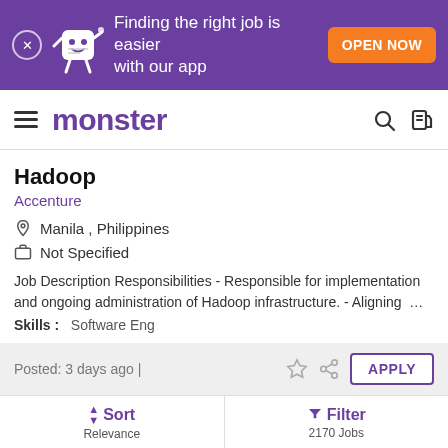[Figure (screenshot): Monster job board app banner: purple background with mascot character, text 'Finding the right job is easier with our app', and orange 'OPEN NOW' button]
[Figure (logo): Monster.com navigation bar with hamburger menu, monster logo in purple, search and login icons]
Hadoop
Accenture
Manila , Philippines
Not Specified
Job Description Responsibilities - Responsible for implementation and ongoing administration of Hadoop infrastructure. - Aligning ...
Skills :   Software Eng
Posted: 3 days ago |
Data Architecture Principles
Sort  Relevance
Filter  2170 Jobs